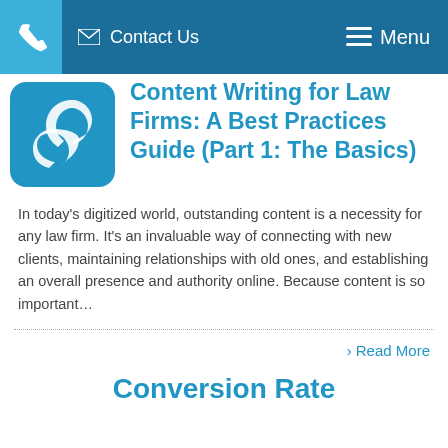Contact Us  Menu
[Figure (logo): Blue rounded square logo with white chain-link or leaf swirl icon]
Content Writing for Law Firms: A Best Practices Guide (Part 1: The Basics)
In today’s digitized world, outstanding content is a necessity for any law firm. It’s an invaluable way of connecting with new clients, maintaining relationships with old ones, and establishing an overall presence and authority online. Because content is so important…
› Read More
Conversion Rate